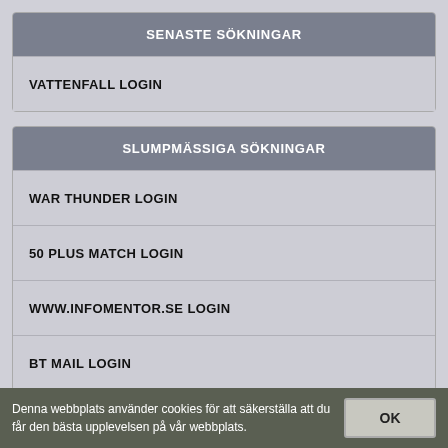SENASTE SÖKNINGAR
VATTENFALL LOGIN
SLUMPMÄSSIGA SÖKNINGAR
WAR THUNDER LOGIN
50 PLUS MATCH LOGIN
WWW.INFOMENTOR.SE LOGIN
BT MAIL LOGIN
Denna webbplats använder cookies för att säkerställa att du får den bästa upplevelsen på vår webbplats.